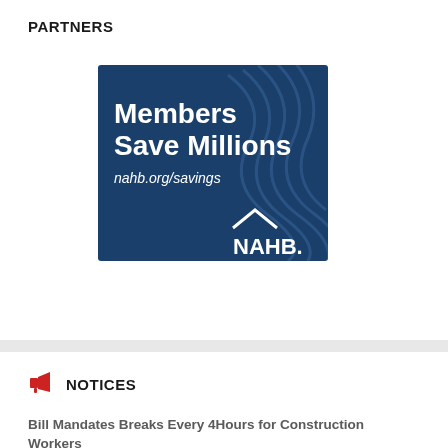PARTNERS
[Figure (illustration): NAHB advertisement banner with dark blue background showing diagonal wave lines pattern, white text 'Members Save Millions', 'nahb.org/savings', and NAHB logo with house roofline icon at bottom right]
NOTICES
Bill Mandates Breaks Every 4Hours for Construction Workers
July 26, 2022